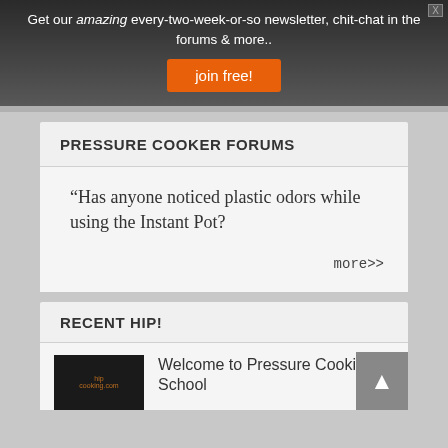Get our amazing every-two-week-or-so newsletter, chit-chat in the forums & more..
join free!
PRESSURE COOKER FORUMS
“Has anyone noticed plastic odors while using the Instant Pot?
more>>
RECENT HIP!
Welcome to Pressure Cooking School